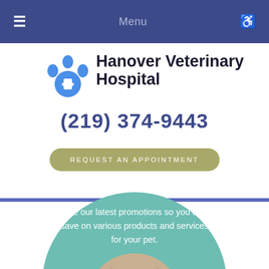≡  Menu  ♿
[Figure (logo): Hanover Veterinary Hospital paw print logo with blue cross in center circle]
Hanover Veterinary Hospital
(219) 374-9443
REQUEST AN APPOINTMENT
See our latest promotions so you can save on various products and services for your pet.
[Figure (photo): A kitten looking upward, displayed in a circular crop within a teal promotional circle]